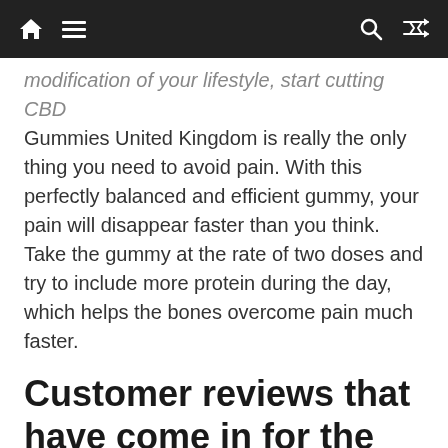Navigation bar with home, menu, search, and shuffle icons
modification of your lifestyle, start cutting CBD Gummies United Kingdom is really the only thing you need to avoid pain. With this perfectly balanced and efficient gummy, your pain will disappear faster than you think. Take the gummy at the rate of two doses and try to include more protein during the day, which helps the bones overcome pain much faster.
Customer reviews that have come in for the CBD supplement:
From day one, the pure Cannaray CBD Gummies United Kingdom has been making headlines and